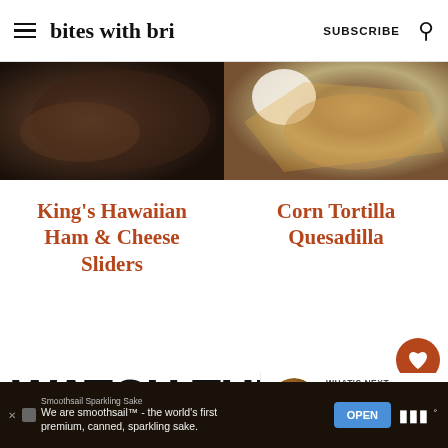bites with bri | SUBSCRIBE
[Figure (photo): Food photo left: dark cast iron pan with Hawaiian slider rolls]
[Figure (photo): Food photo right: corn tortilla quesadilla with cream dip]
King's Hawaiian Ham & Cheese Sliders
Corn Tortilla Quesadilla
43
WATCH THE HOW TO VIDEO
WHAT'S NEXT → Orange Chicken (Air...
Smoothsail Sparkling Sake — We are smoothsail™ - the world's first premium, canned, sparkling sake. OPEN